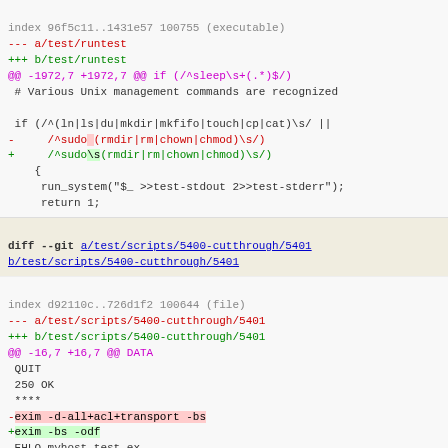index 96f5c11..1431e57 100755 (executable)
--- a/test/runtest
+++ b/test/runtest
@@ -1972,7 +1972,7 @@ if (/^sleep\s+(.*)$/)
 # Various Unix management commands are recognized

 if (/^(ln|ls|du|mkdir|mkfifo|touch|cp|cat)\s/ ||
-     /^sudo (rmdir|rm|chown|chmod)\s/)
+     /^sudo\s(rmdir|rm|chown|chmod)\s/)
    {
     run_system("$_ >>test-stdout 2>>test-stderr");
     return 1;
diff --git a/test/scripts/5400-cutthrough/5401 b/test/scripts/5400-cutthrough/5401
index d92110c..726d1f2 100644 (file)
--- a/test/scripts/5400-cutthrough/5401
+++ b/test/scripts/5400-cutthrough/5401
@@ -16,7 +16,7 @@ DATA
 QUIT
 250 OK
 ****
-exim -d-all+acl+transport -bs
+exim -bs -odf
 EHLO myhost.test.ex
 MAIL FROM:<CALLER@myhost.test.ex>
 RCPT TO:<userx@domain.com>
@@ -25,3 +25,88 @@ DATA
 .
 QUIT
 ****